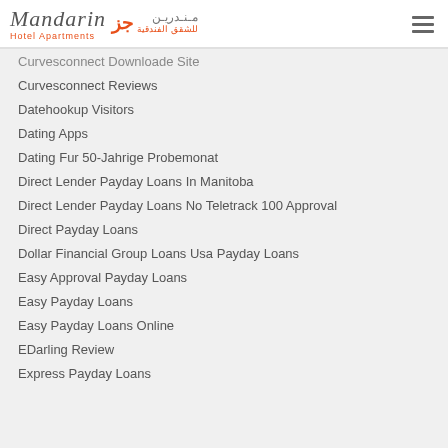[Figure (logo): Mandarin Hotel Apartments logo with Arabic text]
Curvesconnect Downloade Site
Curvesconnect Reviews
Datehookup Visitors
Dating Apps
Dating Fur 50-Jahrige Probemonat
Direct Lender Payday Loans In Manitoba
Direct Lender Payday Loans No Teletrack 100 Approval
Direct Payday Loans
Dollar Financial Group Loans Usa Payday Loans
Easy Approval Payday Loans
Easy Payday Loans
Easy Payday Loans Online
EDarling Review
Express Payday Loans